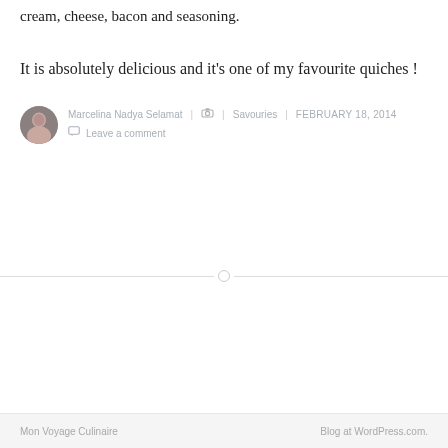cream, cheese, bacon and seasoning.
It is absolutely delicious and it's one of my favourite quiches !
Marcelina Nadya Selamat | 📷 | Savouries | FEBRUARY 18, 2014 | 💬 Leave a comment
Mon Voyage Culinaire    Blog at WordPress.com.